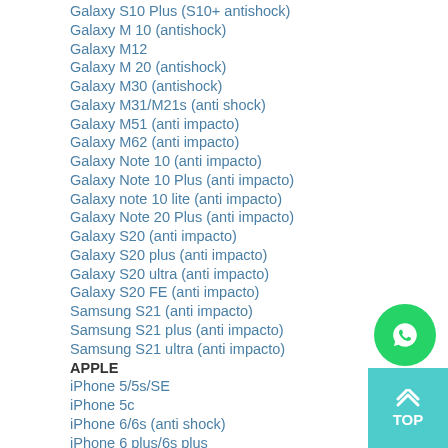Galaxy S10 Plus (S10+ antishock)
Galaxy M 10 (antishock)
Galaxy M12
Galaxy M 20 (antishock)
Galaxy M30 (antishock)
Galaxy M31/M21s (anti shock)
Galaxy M51 (anti impacto)
Galaxy M62 (anti impacto)
Galaxy Note 10 (anti impacto)
Galaxy Note 10 Plus (anti impacto)
Galaxy note 10 lite (anti impacto)
Galaxy Note 20 Plus (anti impacto)
Galaxy S20 (anti impacto)
Galaxy S20 plus (anti impacto)
Galaxy S20 ultra (anti impacto)
Galaxy S20 FE (anti impacto)
Samsung S21 (anti impacto)
Samsung S21 plus (anti impacto)
Samsung S21 ultra (anti impacto)
APPLE
iPhone 5/5s/SE
iPhone 5c
iPhone 6/6s (anti shock)
iPhone 6 plus/6s plus
iPhone 7 / iPhone 8 (anti shock)